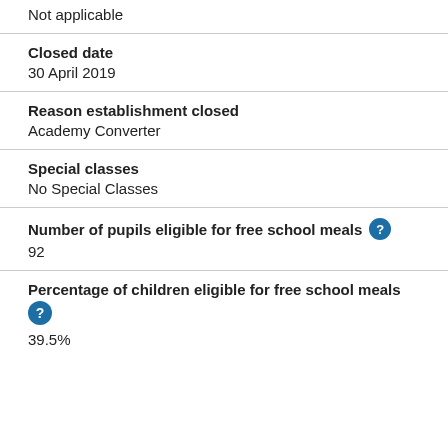Not applicable
Closed date
30 April 2019
Reason establishment closed
Academy Converter
Special classes
No Special Classes
Number of pupils eligible for free school meals
92
Percentage of children eligible for free school meals
39.5%